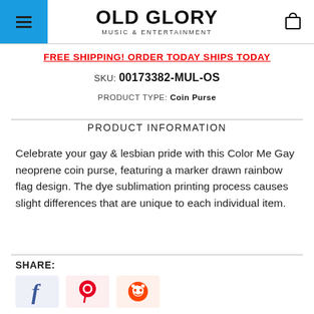OLD GLORY MUSIC & ENTERTAINMENT
FREE SHIPPING! ORDER TODAY SHIPS TODAY
SKU: 00173382-MUL-OS
PRODUCT TYPE: Coin Purse
PRODUCT INFORMATION
Celebrate your gay & lesbian pride with this Color Me Gay neoprene coin purse, featuring a marker drawn rainbow flag design. The dye sublimation printing process causes slight differences that are unique to each individual item.
SHARE: